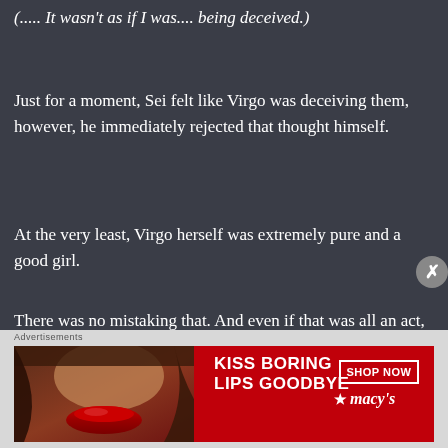(..... It wasn't as if I was.... being deceived.)
Just for a moment, Sei felt like Virgo was deceiving them, however, he immediately rejected that thought himself.
At the very least, Virgo herself was extremely pure and a good girl.
There was no mistaking that. And even if that was all an act, it only meant that he didn't have the eyes to judge other people properly.
He admitted that he was not highly intelligent. As
[Figure (screenshot): Advertisement banner: KISS BORING LIPS GOODBYE with SHOP NOW button and Macy's branding on red background with woman's face]